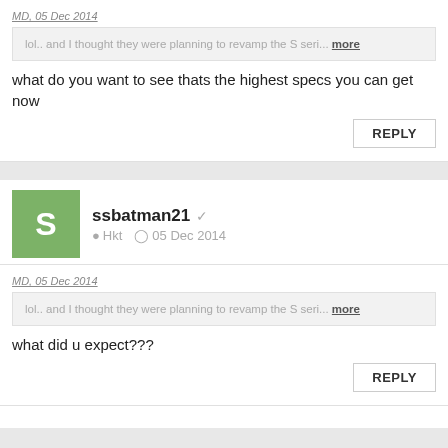MD, 05 Dec 2014
lol.. and I thought they were planning to revamp the S seri... more
what do you want to see thats the highest specs you can get now
REPLY
ssbatman21  ✓   Hkt   05 Dec 2014
MD, 05 Dec 2014
lol.. and I thought they were planning to revamp the S seri... more
what did u expect???
REPLY